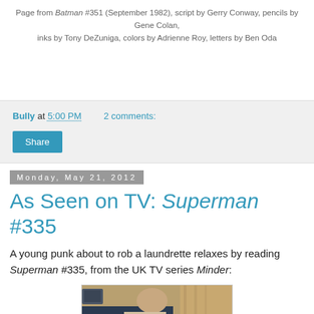Page from Batman #351 (September 1982), script by Gerry Conway, pencils by Gene Colan, inks by Tony DeZuniga, colors by Adrienne Roy, letters by Ben Oda
Bully at 5:00 PM    2 comments:
Monday, May 21, 2012
As Seen on TV: Superman #335
A young punk about to rob a laundrette relaxes by reading Superman #335, from the UK TV series Minder:
[Figure (photo): A person (young punk) sitting and reading a comic book, likely a still from the UK TV series Minder]